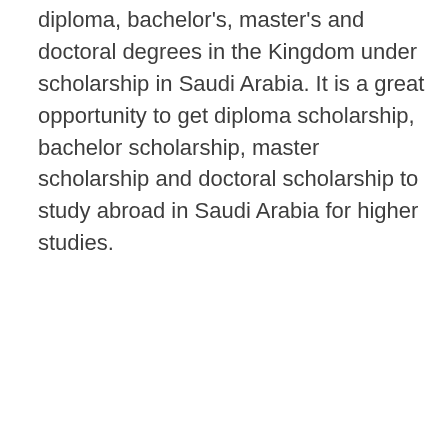diploma, bachelor's, master's and doctoral degrees in the Kingdom under scholarship in Saudi Arabia. It is a great opportunity to get diploma scholarship, bachelor scholarship, master scholarship and doctoral scholarship to study abroad in Saudi Arabia for higher studies.